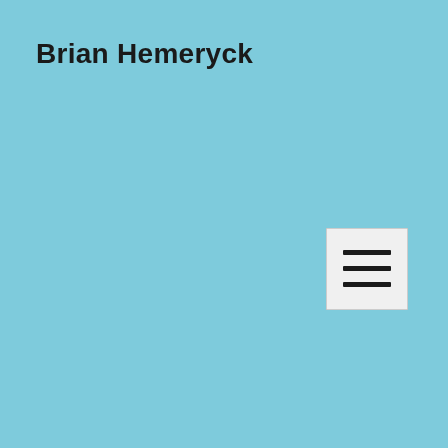Brian Hemeryck
[Figure (other): Hamburger menu button icon with three horizontal lines on a light gray square background]